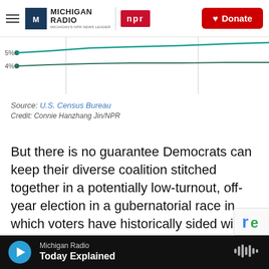Michigan Radio | NPR | Donate
[Figure (continuous-plot): Partial line chart showing percentage values with labels 5% and 4% visible on y-axis, two trend lines in teal/dark green color, clipped at top of visible area]
Source: U.S. Census Bureau
Credit: Connie Hanzhang Jin/NPR
But there is no guarantee Democrats can keep their diverse coalition stitched together in a potentially low-turnout, off-year election in a gubernatorial race in which voters have historically sided with the party that doesn't control the White House.
Michigan Radio | Today Explained